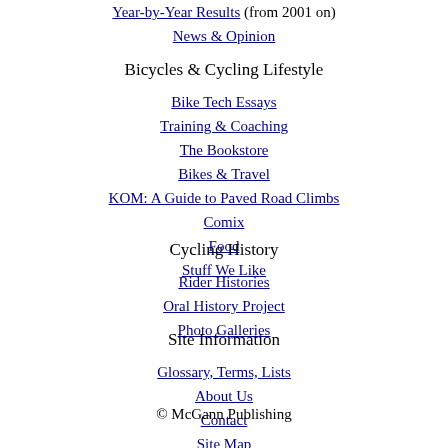Year-by-Year Results (from 2001 on)
News & Opinion
Bicycles & Cycling Lifestyle
Bike Tech Essays
Training & Coaching
The Bookstore
Bikes & Travel
KOM: A Guide to Paved Road Climbs
Comix
Food
Stuff We Like
Cycling History
Rider Histories
Oral History Project
Photo Galleries
Site Information
Glossary, Terms, Lists
About Us
Contact
Site Map
© McGann Publishing